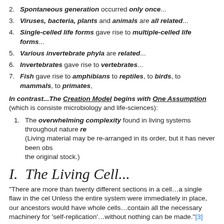2. Spontaneous generation occurred only once...
3. Viruses, bacteria, plants and animals are all related...
4. Single-celled life forms gave rise to multiple-celled life forms...
5. Various invertebrate phyla are related...
6. Invertebrates gave rise to vertebrates...
7. Fish gave rise to amphibians to reptiles, to birds, to mammals, to primates,
In contrast...The Creation Model begins with One Assumption (which is consistent with microbiology and life-sciences):
1. The overwhelming complexity found in living systems throughout nature re (Living material may be re-arranged in its order, but it has never been obs the original stock.)
I.  The Living Cell...
“There are more than twenty different sections in a cell…a single flaw in the cel Unless the entire system were immediately in place, our ancestors would have whole cells…contain all the necessary machinery for ‘self-replication’…without nothing can be made.”[3] The chance assemblage of the 60,000 proteins in a 4,478,296 power![4]
II.  The Bacterial Flagellum...